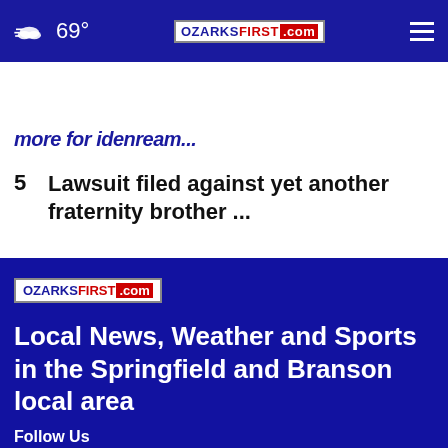69° | OZARKSFIRST.com
more for idenream...
5  Lawsuit filed against yet another fraternity brother ...
[Figure (logo): OzarksFirst.com logo in footer]
Local News, Weather and Sports in the Springfield and Branson local area
Follow Us